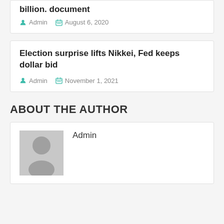billion. document
Admin  August 6, 2020
Election surprise lifts Nikkei, Fed keeps dollar bid
Admin  November 1, 2021
ABOUT THE AUTHOR
Admin